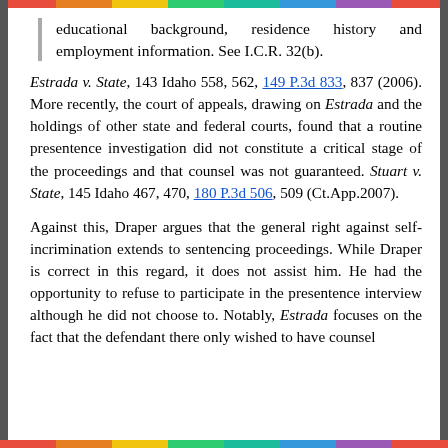educational background, residence history and employment information. See I.C.R. 32(b).
Estrada v. State, 143 Idaho 558, 562, 149 P.3d 833, 837 (2006). More recently, the court of appeals, drawing on Estrada and the holdings of other state and federal courts, found that a routine presentence investigation did not constitute a critical stage of the proceedings and that counsel was not guaranteed. Stuart v. State, 145 Idaho 467, 470, 180 P.3d 506, 509 (Ct.App.2007).
Against this, Draper argues that the general right against self-incrimination extends to sentencing proceedings. While Draper is correct in this regard, it does not assist him. He had the opportunity to refuse to participate in the presentence interview although he did not choose to. Notably, Estrada focuses on the fact that the defendant there only wished to have counsel